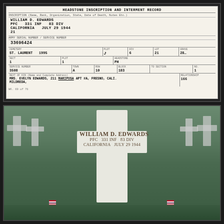[Figure (photo): Scanned Headstone Inscription and Interment Record form for William D. Edwards, PFC 331 INF 83 DIV, California, July 29 1944. Shows service number 33696424, burial location ST. LAURENT 1995, plot 1-1, grave 3508, row 8, block 10, section 183. Next of kin: MRS. EVELYN EDWARDS, 211 MARIPOSA APT #A, FRESNO, CALIFORNIA, MILDREDA.]
[Figure (photo): Photograph of white marble cross grave marker at American military cemetery. Inscription reads: WILLIAM D. EDWARDS / PFC 331 INF 83 DIV / CALIFORNIA JULY 29 1944. Two small flags (American) placed at base of the cross. Multiple white crosses visible in background on green grass.]